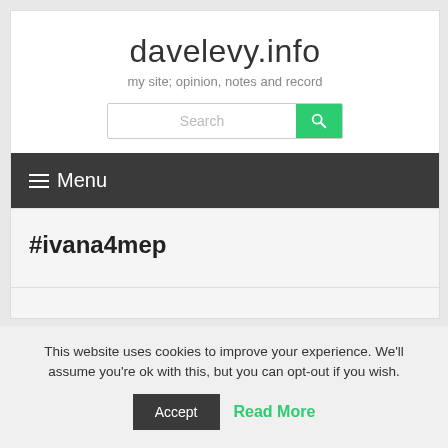davelevy.info
my site; opinion, notes and record
≡ Menu
#ivana4mep
This website uses cookies to improve your experience. We'll assume you're ok with this, but you can opt-out if you wish.
Accept  Read More